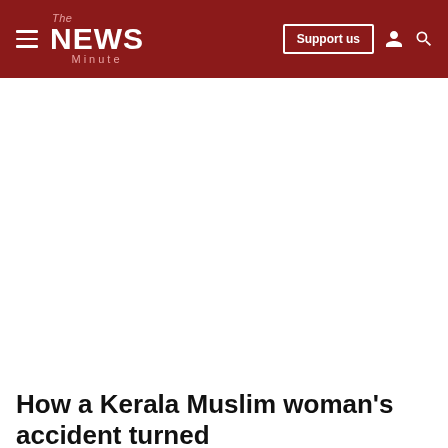The News Minute — Support us
How a Kerala Muslim woman's accident turned